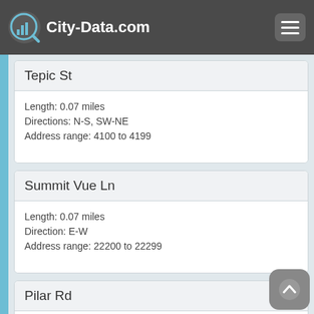City-Data.com
Tepic St
Length: 0.07 miles
Directions: N-S, SW-NE
Address range: 4100 to 4199
Summit Vue Ln
Length: 0.07 miles
Direction: E-W
Address range: 22200 to 22299
Pilar Rd
Length: 0.07 miles